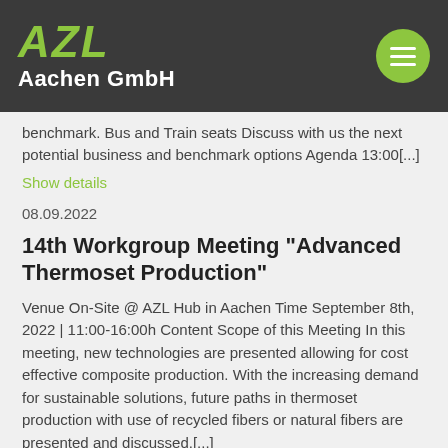AZL Aachen GmbH
benchmark. Bus and Train seats Discuss with us the next potential business and benchmark options Agenda 13:00[...]
Show details
08.09.2022
14th Workgroup Meeting “Advanced Thermoset Production”
Venue On-Site @ AZL Hub in Aachen Time September 8th, 2022 | 11:00-16:00h Content Scope of this Meeting In this meeting, new technologies are presented allowing for cost effective composite production. With the increasing demand for sustainable solutions, future paths in thermoset production with use of recycled fibers or natural fibers are presented and discussed.[...]